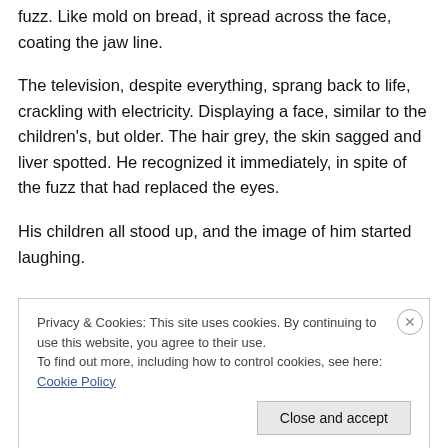fuzz. Like mold on bread, it spread across the face, coating the jaw line.
The television, despite everything, sprang back to life, crackling with electricity. Displaying a face, similar to the children's, but older. The hair grey, the skin sagged and liver spotted. He recognized it immediately, in spite of the fuzz that had replaced the eyes.
His children all stood up, and the image of him started laughing.
Privacy & Cookies: This site uses cookies. By continuing to use this website, you agree to their use.
To find out more, including how to control cookies, see here: Cookie Policy